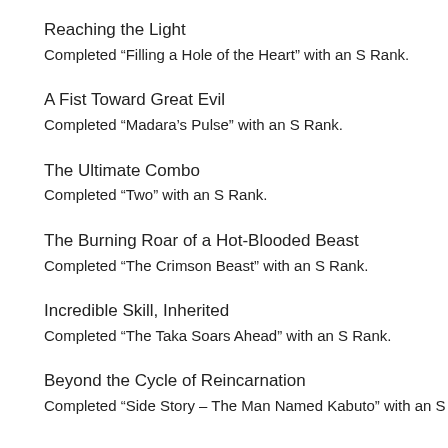Reaching the Light
Completed “Filling a Hole of the Heart” with an S Rank.
A Fist Toward Great Evil
Completed “Madara’s Pulse” with an S Rank.
The Ultimate Combo
Completed “Two” with an S Rank.
The Burning Roar of a Hot-Blooded Beast
Completed “The Crimson Beast” with an S Rank.
Incredible Skill, Inherited
Completed “The Taka Soars Ahead” with an S Rank.
Beyond the Cycle of Reincarnation
Completed “Side Story – The Man Named Kabuto” with an S